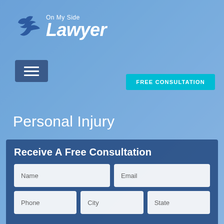[Figure (logo): On My Side Lawyer logo with blue bird icon and italic white text]
[Figure (other): Hamburger menu button (three horizontal lines) on dark blue background]
FREE CONSULTATION
Personal Injury
Receive A Free Consultation
| Name | Email |
| --- | --- |
| Phone | City | State |
| --- | --- | --- |